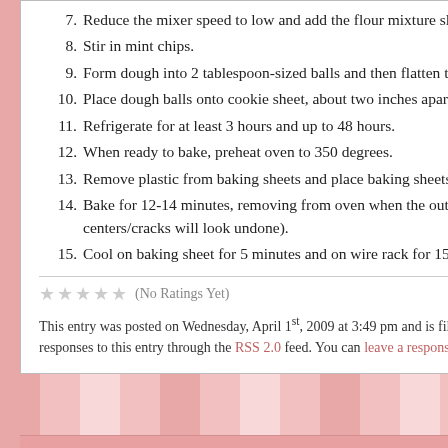7. Reduce the mixer speed to low and add the flour mixture slowly, until just combined.
8. Stir in mint chips.
9. Form dough into 2 tablespoon-sized balls and then flatten them out slightly.
10. Place dough balls onto cookie sheet, about two inches apart, and cover with plastic wrap.
11. Refrigerate for at least 3 hours and up to 48 hours.
12. When ready to bake, preheat oven to 350 degrees.
13. Remove plastic from baking sheets and place baking sheets in oven.
14. Bake for 12-14 minutes, removing from oven when the outsides of the cookie look done (the centers/cracks will look undone).
15. Cool on baking sheet for 5 minutes and on wire rack for 15 minutes.
(No Ratings Yet)
This entry was posted on Wednesday, April 1st, 2009 at 3:49 pm and is filed under Cookies. You can follow any responses to this entry through the RSS 2.0 feed. You can leave a response, or trackback from your own site.